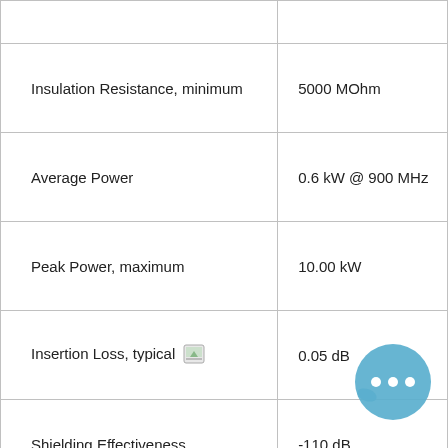| Parameter | Value |
| --- | --- |
|  |  |
| Insulation Resistance, minimum | 5000 MOhm |
| Average Power | 0.6 kW @ 900 MHz |
| Peak Power, maximum | 10.00 kW |
| Insertion Loss, typical [icon] | 0.05 dB |
| Shielding Effectiveness | -110 dB |